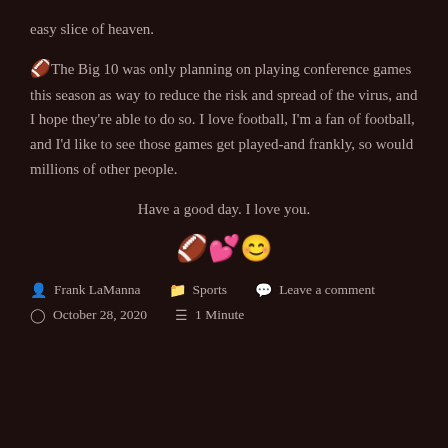easy slice of heaven.
🏈The Big 10 was only planning on playing conference games this season as way to reduce the risk and spread of the virus, and I hope they're able to do so. I love football, I'm a fan of football, and I'd like to see those games get played-and frankly, so would millions of other people.
Have a good day. I love you.
🏈💕😊
Frank LaManna   Sports   Leave a comment   October 28, 2020   1 Minute